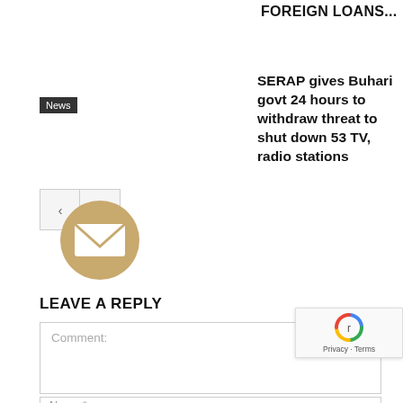FOREIGN LOANS...
SERAP gives Buhari govt 24 hours to withdraw threat to shut down 53 TV, radio stations
News
[Figure (illustration): Navigation arrows and an email envelope icon in a gold circle]
LEAVE A REPLY
Comment:
Name:*